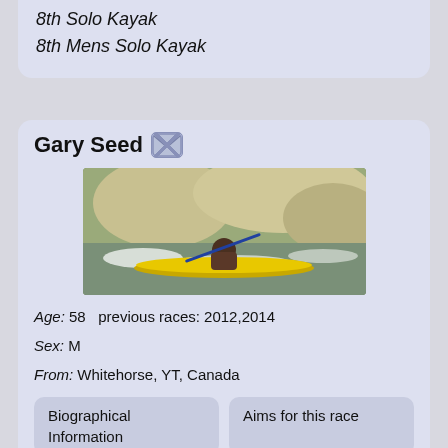8th Solo Kayak
8th Mens Solo Kayak
Gary Seed
[Figure (photo): A man paddling a yellow kayak through fast-moving whitewater river with rocky cliff in background]
Age: 58   previous races: 2012,2014
Sex: M
From: Whitehorse, YT, Canada
Biographical Information
Aims for this race
YRQ2014
Enjoy the view